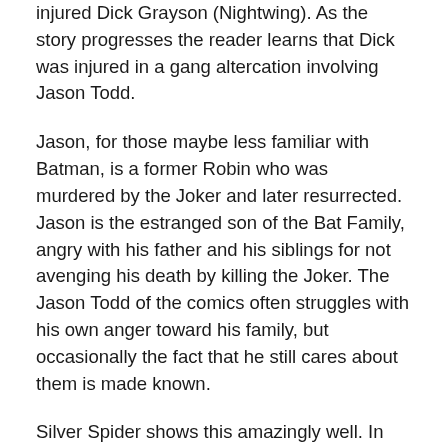injured Dick Grayson (Nightwing). As the story progresses the reader learns that Dick was injured in a gang altercation involving Jason Todd.
Jason, for those maybe less familiar with Batman, is a former Robin who was murdered by the Joker and later resurrected. Jason is the estranged son of the Bat Family, angry with his father and his siblings for not avenging his death by killing the Joker. The Jason Todd of the comics often struggles with his own anger toward his family, but occasionally the fact that he still cares about them is made known.
Silver Spider shows this amazingly well. In The Choice of Family, Jason feeling guilty, shows up at the hospital to check on Dick and even attempts to apologize for his actions, though he doesn't take full responsibility for what he...